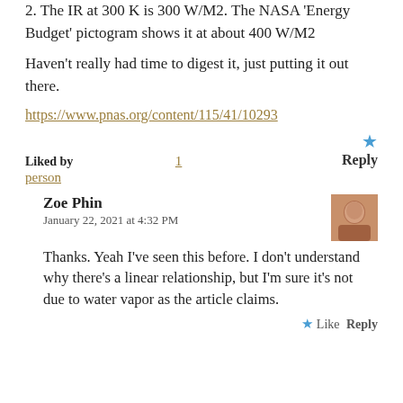2. The IR at 300 K is 300 W/M2. The NASA 'Energy Budget' pictogram shows it at about 400 W/M2
Haven't really had time to digest it, just putting it out there.
https://www.pnas.org/content/115/41/10293
Liked by
1
person
Reply
Zoe Phin
January 22, 2021 at 4:32 PM
Thanks. Yeah I've seen this before. I don't understand why there's a linear relationship, but I'm sure it's not due to water vapor as the article claims.
Like Reply